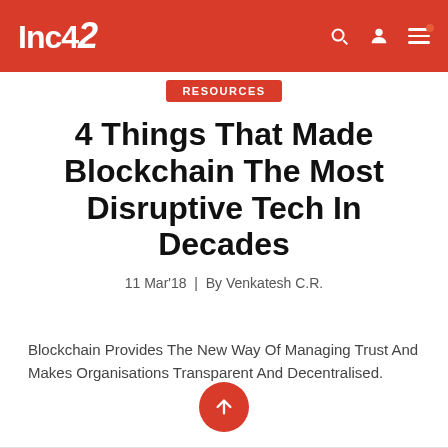Inc42
RESOURCES
4 Things That Made Blockchain The Most Disruptive Tech In Decades
11 Mar'18 | By Venkatesh C.R.
Blockchain Provides The New Way Of Managing Trust And Makes Organisations Transparent And Decentralised.